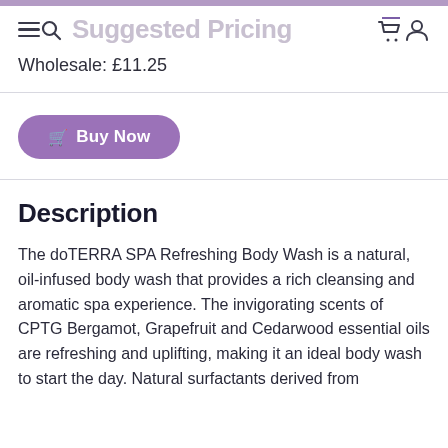Suggested Pricing
Wholesale: £11.25
Buy Now
Description
The doTERRA SPA Refreshing Body Wash is a natural, oil-infused body wash that provides a rich cleansing and aromatic spa experience. The invigorating scents of CPTG Bergamot, Grapefruit and Cedarwood essential oils are refreshing and uplifting, making it an ideal body wash to start the day. Natural surfactants derived from